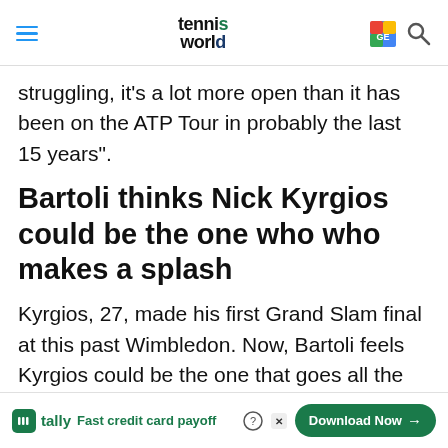tennis world
struggling, it’s a lot more open than it has been on the ATP Tour in probably the last 15 years”.
Bartoli thinks Nick Kyrgios could be the one who who makes a splash
Kyrgios, 27, made his first Grand Slam final at this past Wimbledon. Now, Bartoli feels Kyrgios could be the one that goes all the way and wins his first Gran
[Figure (screenshot): Tally app advertisement banner: Fast credit card payoff, Download Now button]